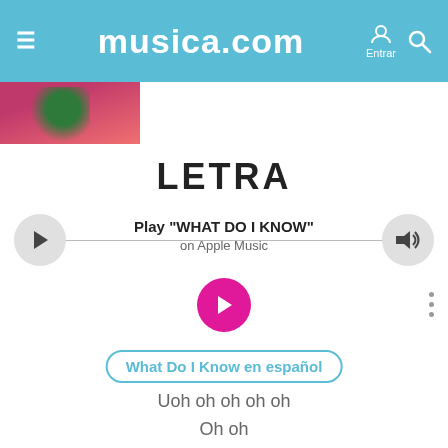musica.com — Entrar
[Figure (photo): Partial album art thumbnail visible at top-left below the header, showing a figure in pink/red tones with green foliage.]
LETRA
Play "WHAT DO I KNOW"
on Apple Music
[Figure (other): Pink circular play button]
What Do I Know en español
Uoh oh oh oh oh
Oh oh
Yeah!
We never are, where we want to be,
You never see, all the things I've seen,
We put our trust, in the hope of feeling free,